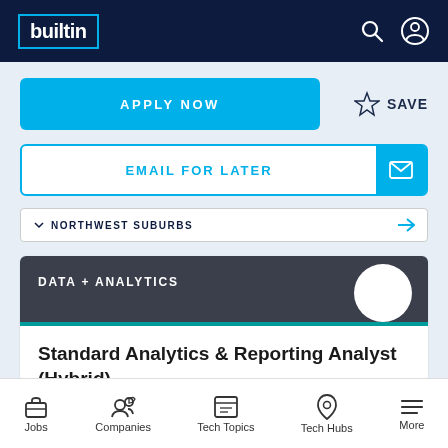builtin
APPLY NOW
SAVE
EMAIL FOR LATER
NORTHWEST SUBURBS
DATA + ANALYTICS
Standard Analytics & Reporting Analyst (Hybrid)
PEAPOD DIGITAL LABS
Jobs  Companies  Tech Topics  Tech Hubs  More